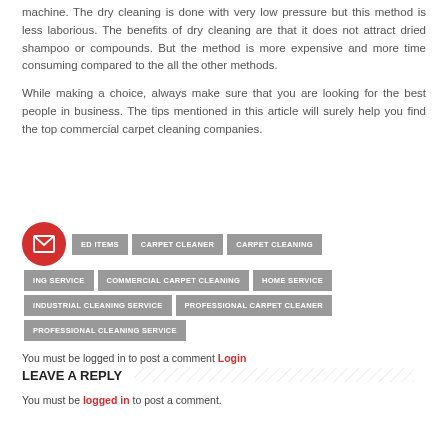machine. The dry cleaning is done with very low pressure but this method is less laborious. The benefits of dry cleaning are that it does not attract dried shampoo or compounds. But the method is more expensive and more time consuming compared to the all the other methods.
While making a choice, always make sure that you are looking for the best people in business. The tips mentioned in this article will surely help you find the top commercial carpet cleaning companies.
TAGGED ITEMS  CARPET CLEANER  CARPET CLEANING  CLEANING SERVICE  COMMERCIAL CARPET CLEANING  HOME SERVICE  INDUSTRIAL CLEANING SERVICE  PROFESSIONAL CARPET CLEANER  PROFESSIONAL CLEANING SERVICE
You must be logged in to post a comment Login
LEAVE A REPLY
You must be logged in to post a comment.